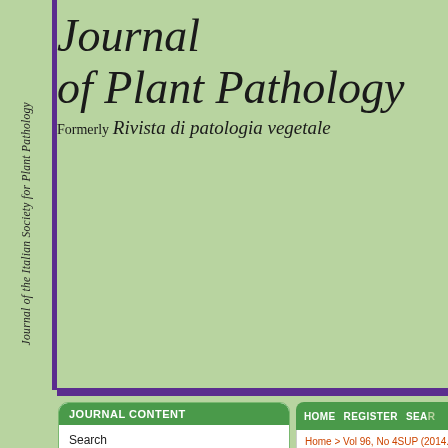Journal of Plant Pathology
Formerly Rivista di patologia vegetale
Journal of the Italian Society for Plant Pathology
JOURNAL CONTENT
Search
Search Scope
All
Search
Browse
By Issue
By Author
By Title
INFORMATION
HOME  REGISTER  SEARCH...
Home > Vol 96, No 4SUP (2014...
THIELAVIOPSIS... OF DATE PALM...
M.R. Mirzaee, H. Tajali, S.A...
Abstract